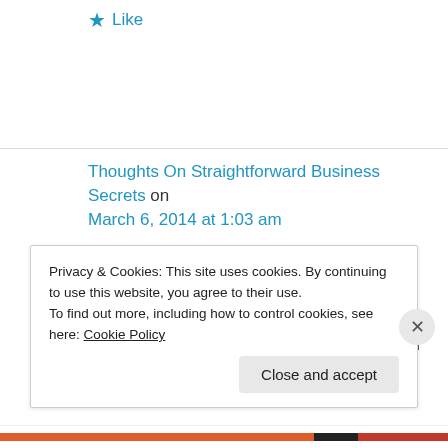★ Like
Thoughts On Straightforward Business Secrets on March 6, 2014 at 1:03 am
Your style is unique in comparison to other people I have read stuff from. Thanks for posting when you have the
Privacy & Cookies: This site uses cookies. By continuing to use this website, you agree to their use. To find out more, including how to control cookies, see here: Cookie Policy
Close and accept